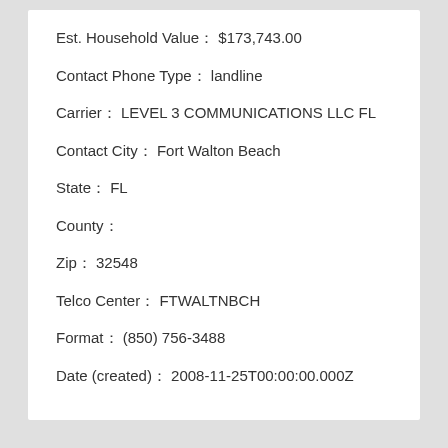Est. Household Value：  $173,743.00
Contact Phone Type：  landline
Carrier：  LEVEL 3 COMMUNICATIONS LLC FL
Contact City：  Fort Walton Beach
State：  FL
County：
Zip：  32548
Telco Center：  FTWALTNBCH
Format：  (850) 756-3488
Date (created)：  2008-11-25T00:00:00.000Z